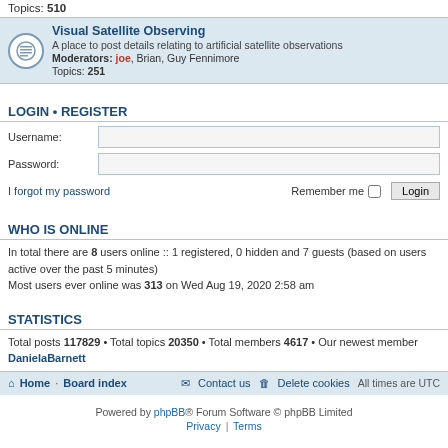Topics: 510
Visual Satellite Observing
A place to post details relating to artificial satellite observations
Moderators: joe, Brian, Guy Fennimore
Topics: 251
LOGIN • REGISTER
Username:
Password:
I forgot my password   Remember me  Login
WHO IS ONLINE
In total there are 8 users online :: 1 registered, 0 hidden and 7 guests (based on users active over the past 5 minutes)
Most users ever online was 313 on Wed Aug 19, 2020 2:58 am
STATISTICS
Total posts 117829 • Total topics 20350 • Total members 4617 • Our newest member DanielaBarnett
Home · Board index   Contact us   Delete cookies   All times are UTC
Powered by phpBB® Forum Software © phpBB Limited
Privacy | Terms